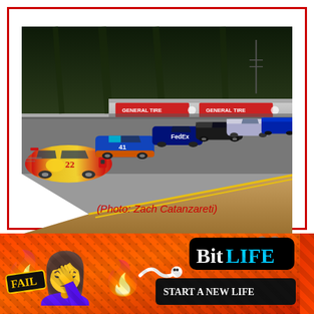[Figure (photo): NASCAR race cars on a track, lead car is yellow and red (appears to be a Shell/Pennzoil car), followed by several blue and other colored cars going around a turn. General Tire banners visible on the wall. Track curves with sandy/dirt apron visible.]
(Photo: Zach Catanzareti)
[Figure (illustration): Advertisement banner for BitLife mobile game. Shows fire emojis, a woman facepalm emoji, 'FAIL' label, a worm-like arrow graphic, BitLife logo with question mark and X close buttons, and 'START A NEW LIFE' text on black background. Orange/red textured background.]